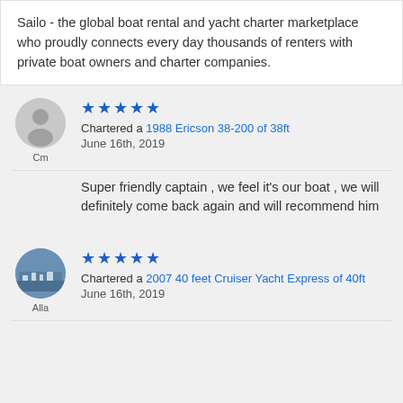Sailo - the global boat rental and yacht charter marketplace who proudly connects every day thousands of renters with private boat owners and charter companies.
[Figure (illustration): Gray circular avatar placeholder with silhouette person icon for user 'Cm']
Cm
★★★★★ Chartered a 1988 Ericson 38-200 of 38ft June 16th, 2019
Super friendly captain , we feel it's our boat , we will definitely come back again and will recommend him
[Figure (photo): Circular profile photo showing a city/harbor skyline for user 'Alla']
Alla
★★★★★ Chartered a 2007 40 feet Cruiser Yacht Express of 40ft June 16th, 2019